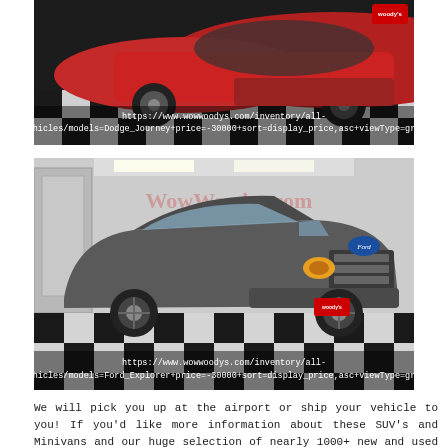[Figure (photo): Red car (Dodge Journey) photographed from front-left angle on a black and white checkered floor in a dealership showroom. A URL overlay reads: https://www.wowwoodys.com/inventory/all-vehicles/models=Dodge_Journey+price=-30000+sort=display_price,asc+viewType=grid]
[Figure (photo): Gray Ford Explorer SUV photographed from front-left angle on a black and white checkered floor in a dealership showroom. WowWoodys.com watermark visible in upper right. A URL overlay reads: https://www.wowwoodys.com/inventory/all-vehicles/models=Ford_Explorer+price=-30000+sort=display_price,asc+viewType=grid]
We will pick you up at the airport or ship your vehicle to you! If you'd like more information about these SUV's and Minivans and our huge selection of nearly 1000+ new and used vehicles located in